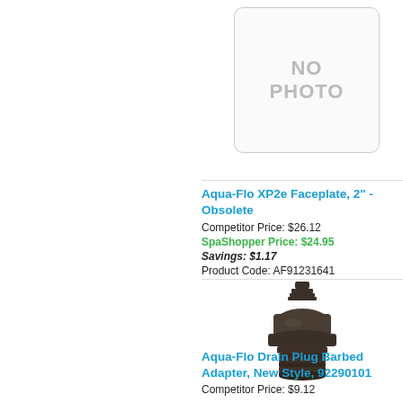[Figure (photo): No photo placeholder box with rounded corners and 'NO PHOTO' text in grey]
Aqua-Flo XP2e Faceplate, 2" - Obsolete
Competitor Price: $26.12
SpaShopper Price: $24.95
Savings: $1.17
Product Code: AF91231641
[Figure (photo): Dark brown plastic Aqua-Flo Drain Plug Barbed Adapter fitting with barbed top and threaded bottom]
Aqua-Flo Drain Plug Barbed Adapter, New Style, 92290101
Competitor Price: $9.12